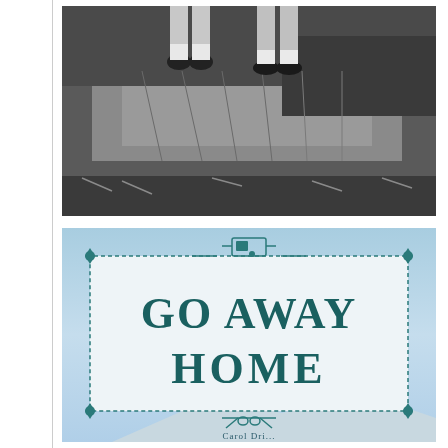[Figure (photo): Black and white vintage photograph of two children sitting on top of a large haystack, their legs dangling over the edge. The background shows overgrown grass and vegetation.]
[Figure (photo): Book cover of 'Go Away Home' with a light blue sky background. The title 'GO AWAY HOME' is displayed prominently in large teal/dark teal serif font inside a decorative rectangular border with dotted edges and corner ornaments. A sewing machine icon appears above the title border and scissors icon appears below. The author name appears partially at the bottom.]